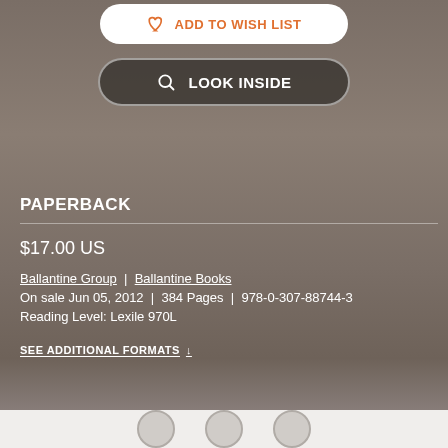[Figure (screenshot): ADD TO WISH LIST button with heart icon at top]
[Figure (screenshot): LOOK INSIDE button with magnifying glass icon]
PAPERBACK
$17.00 US
Ballantine Group | Ballantine Books
On sale Jun 05, 2012 | 384 Pages | 978-0-307-88744-3
Reading Level: Lexile 970L
SEE ADDITIONAL FORMATS ↓